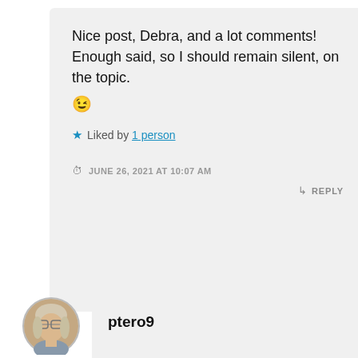Nice post, Debra, and a lot comments!
Enough said, so I should remain silent, on the topic.
😉
Liked by 1 person
JUNE 26, 2021 AT 10:07 AM
REPLY
[Figure (photo): Circular avatar photo of a woman with glasses and light hair]
ptero9